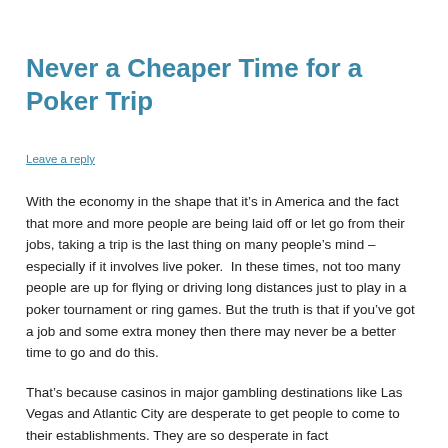Never a Cheaper Time for a Poker Trip
Leave a reply
With the economy in the shape that it’s in America and the fact that more and more people are being laid off or let go from their jobs, taking a trip is the last thing on many people’s mind – especially if it involves live poker.  In these times, not too many people are up for flying or driving long distances just to play in a poker tournament or ring games. But the truth is that if you’ve got a job and some extra money then there may never be a better time to go and do this.
That’s because casinos in major gambling destinations like Las Vegas and Atlantic City are desperate to get people to come to their establishments. They are so desperate in fact